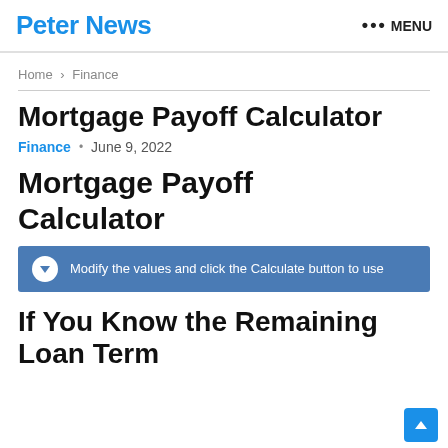Peter News  ••• MENU
Home > Finance
Mortgage Payoff Calculator
Finance  •  June 9, 2022
Mortgage Payoff Calculator
Modify the values and click the Calculate button to use
If You Know the Remaining Loan Term